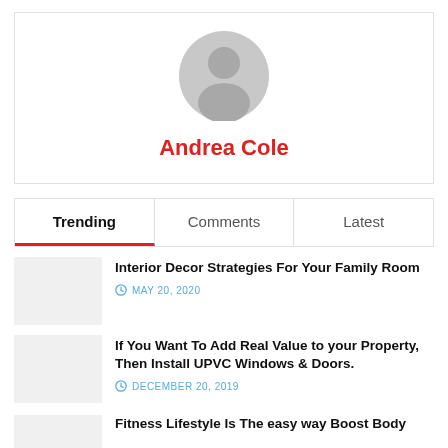[Figure (illustration): Gray default user avatar silhouette circle icon]
Andrea Cole
Trending | Comments | Latest
Interior Decor Strategies For Your Family Room
MAY 20, 2020
If You Want To Add Real Value to your Property, Then Install UPVC Windows & Doors.
DECEMBER 20, 2019
Fitness Lifestyle Is The easy way Boost Body